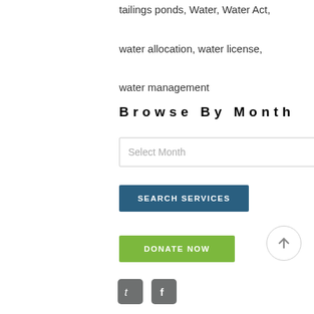tailings ponds, Water, Water Act, water allocation, water license, water management
Browse By Month
[Figure (screenshot): Dropdown selector labeled 'Select Month' with a chevron arrow on the right]
[Figure (screenshot): Blue button labeled 'SEARCH SERVICES']
[Figure (screenshot): Green button labeled 'DONATE NOW']
[Figure (screenshot): Circular back-to-top button with upward arrow]
[Figure (screenshot): Social media icons: Twitter (t) and Facebook (f)]